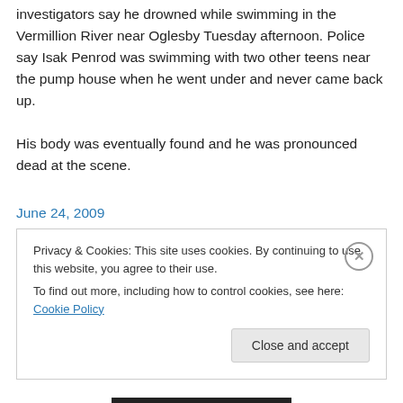investigators say he drowned while swimming in the Vermillion River near Oglesby Tuesday afternoon. Police say Isak Penrod was swimming with two other teens near the pump house when he went under and never came back up. His body was eventually found and he was pronounced dead at the scene.
June 24, 2009
Privacy & Cookies: This site uses cookies. By continuing to use this website, you agree to their use. To find out more, including how to control cookies, see here: Cookie Policy
Close and accept